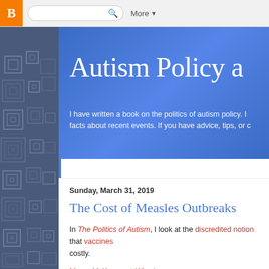[Figure (screenshot): Blogger top navigation bar with orange B icon, search box, and More dropdown]
[Figure (illustration): Left sidebar with blue geometric square pattern on dark blue background]
Autism Policy a
I have written a book on the politics of autism policy. I facts about about recent events. If you have advice, tips, or c
Sunday, March 31, 2019
The Cost of Measles Outbreaks
In The Politics of Autism, I look at the discredited notion that vaccines costly.
Maryn McKenna at Wired: